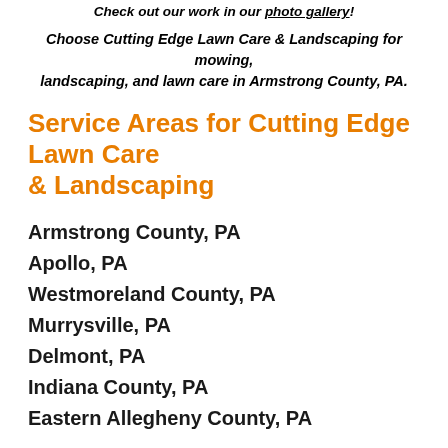Check out our work in our photo gallery!
Choose Cutting Edge Lawn Care & Landscaping for mowing, landscaping, and lawn care in Armstrong County, PA.
Service Areas for Cutting Edge Lawn Care & Landscaping
Armstrong County, PA
Apollo, PA
Westmoreland County, PA
Murrysville, PA
Delmont, PA
Indiana County, PA
Eastern Allegheny County, PA